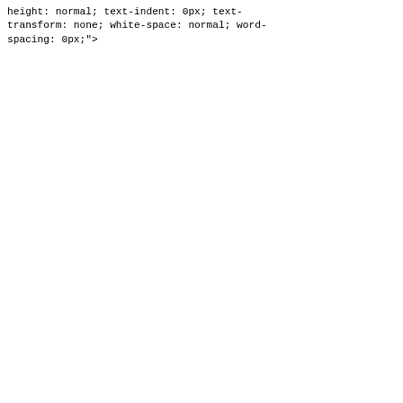height: normal; text-indent: 0px; text-transform: none; white-space: normal; word-spacing: 0px;"><div style="word-wrap: break-word;"> <span style="border-collapse: separate; color: rgb(0, 0, 0); font-family: Helvetica; font-size: 11px; font-style: normal; font-variant: normal; font-weight: normal; letter-spacing: normal; line-height: normal; text-indent: 0px; text-transform: none; white-space: normal; word-spacing: 0px;"><div style="word-wrap: break-word;"> <span style="border-collapse: separate; color: rgb(0, 0, 0); font-family: Helvetica; font-size: 11px; font-style: normal; font-variant: normal; font-weight: normal; letter-spacing: normal; line-height: normal; text-indent: 0px; text-transform: none; white-space: normal; word-spacing: 0px;"><div style="word-wrap: break-word;"> <span style="border-collapse: separate; color: rgb(0, 0, 0); font-family: Arial; font-size: 12px; font-style: normal; font-variant: normal; font-weight: normal; letter-spacing: normal; line-height: normal; text-indent: 0px; text-transform: none; white-space: normal; word-spacing: 0px;"><div style="word-wrap: break-word;"> <span style="border-collapse: separate; color: rgb(0, 0, 0); font-family: Helvetica; font-size: 11px; font-